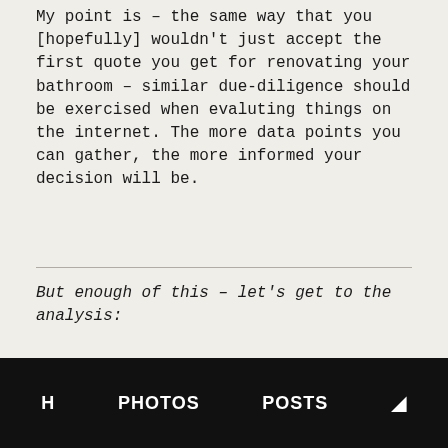My point is – the same way that you [hopefully] wouldn't just accept the first quote you get for renovating your bathroom – similar due-diligence should be exercised when evaluting things on the internet. The more data points you can gather, the more informed your decision will be.
But enough of this – let's get to the analysis:
H    PHOTOS    POSTS    🌙